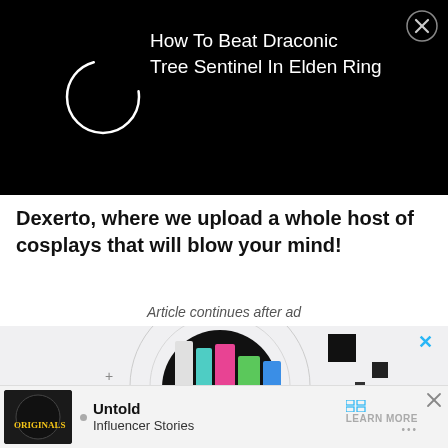[Figure (screenshot): Dark banner with a circular loading spinner on the left and text 'How To Beat Draconic Tree Sentinel In Elden Ring' on the right with a close (X) button in the top-right corner.]
Dexerto, where we upload a whole host of cosplays that will blow your mind!
Article continues after ad
[Figure (screenshot): Advertisement featuring colorful graphic design with 'ORIGINALS' text in graffiti style lettering. A blue X close button appears in the top right.]
[Figure (screenshot): Bottom ad bar: thumbnail with ORIGINALS logo, dot bullet, 'Untold Influencer Stories' text, LEARN MORE button, and close X.]